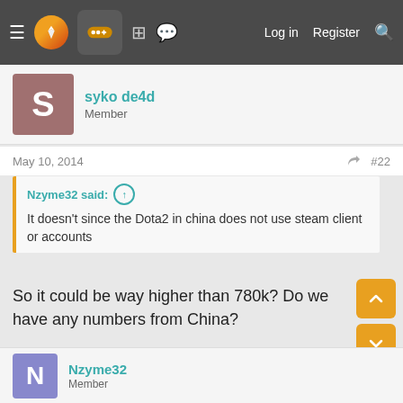Navigation bar with logo, controller icon, forum icons, Log in, Register, Search
syko de4d
Member
May 10, 2014  #22
Nzyme32 said: ↑
It doesn't since the Dota2 in china does not use steam client or accounts
So it could be way higher than 780k? Do we have any numbers from China?

Do we know how many still playing the original Dota worldwide?
Nzyme32
Member